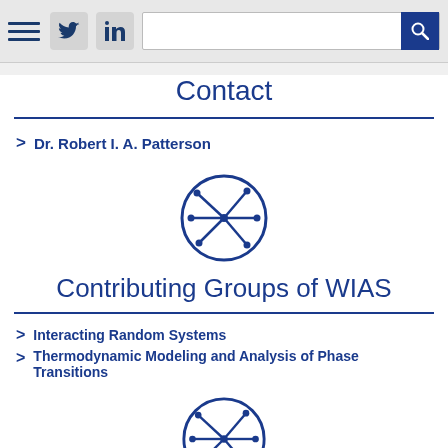[Figure (screenshot): Top navigation bar with hamburger menu, Twitter icon, LinkedIn icon, search input, and search button]
Contact
> Dr. Robert I. A. Patterson
[Figure (logo): WIAS circular logo with spokes pattern]
Contributing Groups of WIAS
> Interacting Random Systems
> Thermodynamic Modeling and Analysis of Phase Transitions
[Figure (logo): WIAS circular logo with spokes pattern]
Applications